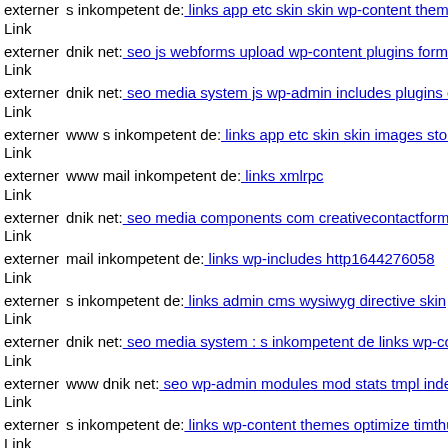externer Link  s inkompetent de: links app etc skin skin wp-content themes
externer Link  dnik net: seo js webforms upload wp-content plugins formo
externer Link  dnik net: seo media system js wp-admin includes plugins co
externer Link  www s inkompetent de: links app etc skin skin images stori
externer Link  www mail inkompetent de: links xmlrpc
externer Link  dnik net: seo media components com creativecontactform f
externer Link  mail inkompetent de: links wp-includes http1644276058
externer Link  s inkompetent de: links admin cms wysiwyg directive skin
externer Link  dnik net: seo media system : s inkompetent de links wp-con
externer Link  www dnik net: seo wp-admin modules mod stats tmpl index
externer Link  s inkompetent de: links wp-content themes optimize timthu